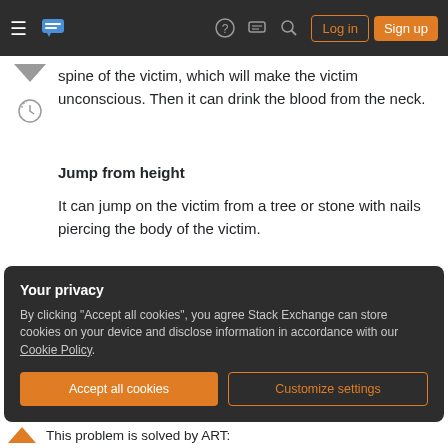Stack Exchange navigation bar with hamburger menu, logo, help, chat, search icons, Log in and Sign up buttons
spine of the victim, which will make the victim unconscious. Then it can drink the blood from the neck.
Jump from height
It can jump on the victim from a tree or stone with nails piercing the body of the victim.
Strong hit
It can run fast and hit the victim with great force.
Your privacy
By clicking "Accept all cookies", you agree Stack Exchange can store cookies on your device and disclose information in accordance with our Cookie Policy.
This problem is solved by ART: